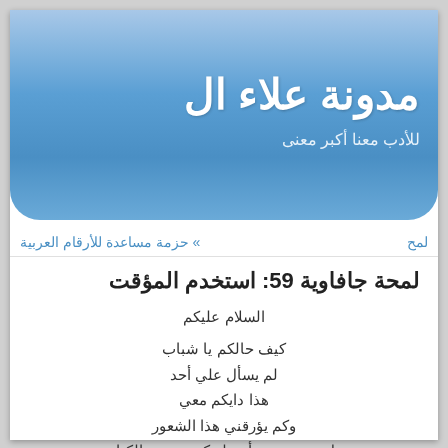مدونة علاء ال
للأدب معنا أكبر معنى
» حزمة مساعدة للأرقام العربية   لمح
لمحة جافاوية 59: استخدم المؤقت
السلام عليكم
كيف حالكم يا شباب
لم يسأل علي أحد
هذا دايكم معي
وكم يؤرقني هذا الشعور
هل سيفتقدني أحد لو كففت عن الكتابة
هل يرتاح بالي لأن كان لأي صديقة